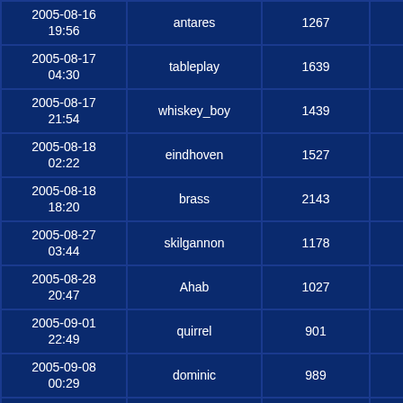| Date | Name | Score | Change |
| --- | --- | --- | --- |
| 2005-08-16 19:56 | antares | 1267 | -102 |
| 2005-08-17 04:30 | tableplay | 1639 | +271 |
| 2005-08-17 21:54 | whiskey_boy | 1439 | +70 |
| 2005-08-18 02:22 | eindhoven | 1527 | +158 |
| 2005-08-18 18:20 | brass | 2143 | +774 |
| 2005-08-27 03:44 | skilgannon | 1178 | -191 |
| 2005-08-28 20:47 | Ahab | 1027 | -342 |
| 2005-09-01 22:49 | quirrel | 901 | -468 |
| 2005-09-08 00:29 | dominic | 989 | -380 |
| 2005-09-12 00:57 | maropoly | 1303 | -66 |
| 2005-09-16 20:20 | platoon | 1447 | +78 |
| 2005-09-18 14:42 | fring | 1406 | +37 |
| 2005-09-24 02:24 | tableplay | 1639 | +271 |